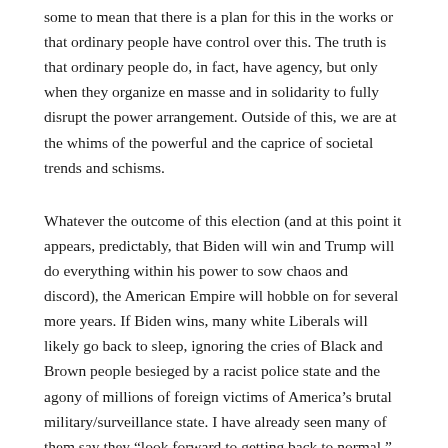some to mean that there is a plan for this in the works or that ordinary people have control over this. The truth is that ordinary people do, in fact, have agency, but only when they organize en masse and in solidarity to fully disrupt the power arrangement. Outside of this, we are at the whims of the powerful and the caprice of societal trends and schisms.
Whatever the outcome of this election (and at this point it appears, predictably, that Biden will win and Trump will do everything within his power to sow chaos and discord), the American Empire will hobble on for several more years. If Biden wins, many white Liberals will likely go back to sleep, ignoring the cries of Black and Brown people besieged by a racist police state and the agony of millions of foreign victims of America's brutal military/surveillance state. I have already seen many of them say they “look forward to getting back to normal.”
But what was normal? No healthcare for working people and the poor? Continuing police brutality? Growing income inequity? Continued subsidies for corporations? The fossil fuel industry? The arms industry? Record